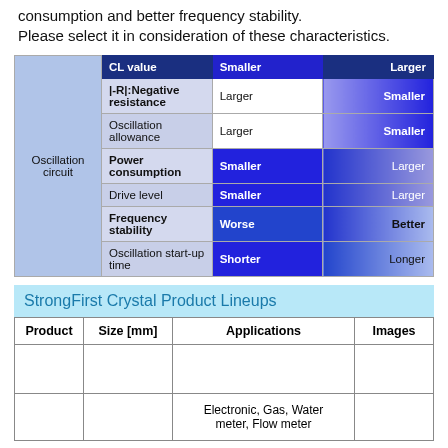consumption and better frequency stability.
Please select it in consideration of these characteristics.
|  | CL value | Smaller | Larger |
| --- | --- | --- | --- |
| Oscillation circuit | |-R|:Negative resistance | Larger | Smaller |
| Oscillation circuit | Oscillation allowance | Larger | Smaller |
| Oscillation circuit | Power consumption | Smaller | Larger |
| Oscillation circuit | Drive level | Smaller | Larger |
| Oscillation circuit | Frequency stability | Worse | Better |
| Oscillation circuit | Oscillation start-up time | Shorter | Longer |
StrongFirst Crystal Product Lineups
| Product | Size [mm] | Applications | Images |
| --- | --- | --- | --- |
|  |  | Electronic, Gas, Water meter, Flow meter |  |